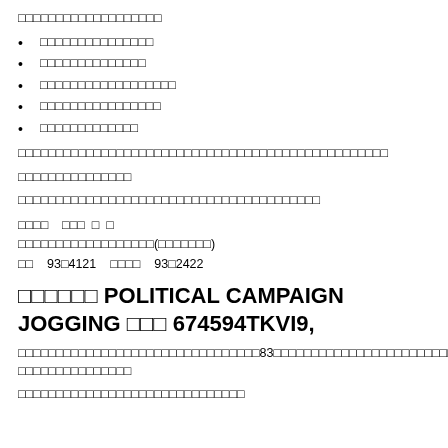□□□□□□□□□□□□□□□□□□□
□□□□□□□□□□□□□□□
□□□□□□□□□□□□□□
□□□□□□□□□□□□□□□□□□
□□□□□□□□□□□□□□□□
□□□□□□□□□□□□□
□□□□□□□□□□□□□□□□□□□□□□□□□□□□□□□□□□□□□□□□□□□□□□□□□
□□□□□□□□□□□□□□□
□□□□□□□□□□□□□□□□□□□□□□□□□□□□□□□□□□□□□□□□
□□□□  □□□  □  □
□□□□□□□□□□□□□□□□□□□(□□□□□□□)
□□  93□4121  □□□□  93□2422
□□□□□□ POLITICAL CAMPAIGN JOGGING □□□ 674594TKVI9,
□□□□□□□□□□□□□□□□□□□□□□□□□□□□□□□□□83□□□□□□□□□□□□□□□□□□□□□□□□□□□□□□□□□□□□□□□□□□□□□
□□□□□□□□□□□□□□□□□□□□□□□□□□□□□